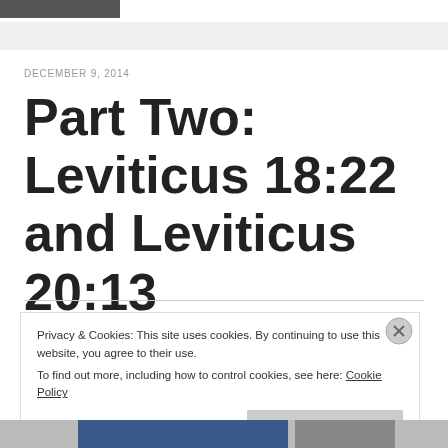[Figure (photo): Partial photo strip at top left]
DECEMBER 9, 2014
Part Two: Leviticus 18:22 and Leviticus 20:13
Privacy & Cookies: This site uses cookies. By continuing to use this website, you agree to their use.
To find out more, including how to control cookies, see here: Cookie Policy
[Figure (photo): Bottom image strip with blue and grey photo sections]